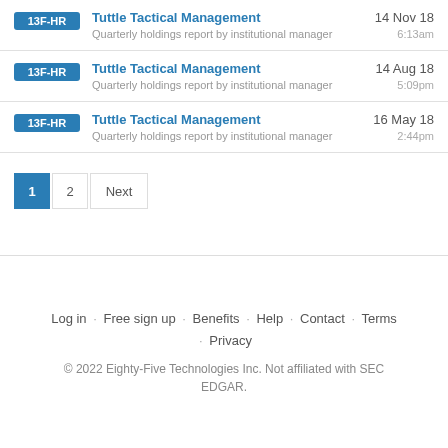13F-HR | Tuttle Tactical Management | 14 Nov 18 6:13am | Quarterly holdings report by institutional manager
13F-HR | Tuttle Tactical Management | 14 Aug 18 5:09pm | Quarterly holdings report by institutional manager
13F-HR | Tuttle Tactical Management | 16 May 18 2:44pm | Quarterly holdings report by institutional manager
1 2 Next
Log in · Free sign up · Benefits · Help · Contact · Terms · Privacy
© 2022 Eighty-Five Technologies Inc. Not affiliated with SEC EDGAR.